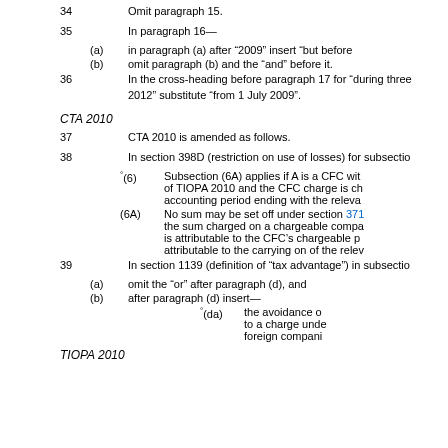34   Omit paragraph 15.
35   In paragraph 16—
(a)   in paragraph (a) after “2009” insert “but before
(b)   omit paragraph (b) and the “and” before it.
36   In the cross-heading before paragraph 17 for “during three 2012” substitute “from 1 July 2009”.
CTA 2010
37   CTA 2010 is amended as follows.
38   In section 398D (restriction on use of losses) for subsectio
°(6)   Subsection (6A) applies if A is a CFC wit of TIOPA 2010 and the CFC charge is ch accounting period ending with the releva
(6A)   No sum may be set off under section 371 the sum charged on a chargeable compa is attributable to the CFC’s chargeable p attributable to the carrying on of the relev
39   In section 1139 (definition of “tax advantage”) in subsectio
(a)   omit the “or” after paragraph (d), and
(b)   after paragraph (d) insert—
°(da)   the avoidance o to a charge unde foreign compani
TIOPA 2010